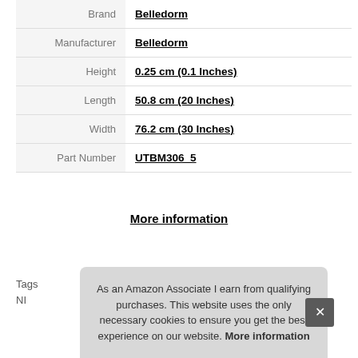| Attribute | Value |
| --- | --- |
| Brand | Belledorm |
| Manufacturer | Belledorm |
| Height | 0.25 cm (0.1 Inches) |
| Length | 50.8 cm (20 Inches) |
| Width | 76.2 cm (30 Inches) |
| Part Number | UTBM306_5 |
More information
Tags
NIY
As an Amazon Associate I earn from qualifying purchases. This website uses the only necessary cookies to ensure you get the best experience on our website. More information